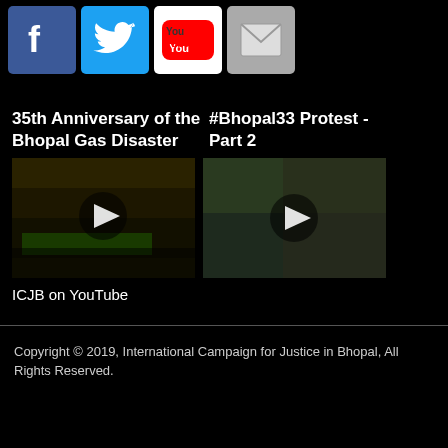[Figure (illustration): Social media icons row: Facebook, Twitter, YouTube, Email/Mail on black background]
35th Anniversary of the Bhopal Gas Disaster
#Bhopal33 Protest - Part 2
[Figure (screenshot): Video thumbnail for '35th Anniversary of the Bhopal Gas Disaster' with play button overlay showing protest march with green banner]
[Figure (screenshot): Video thumbnail for '#Bhopal33 Protest - Part 2' with play button overlay showing crowd of people]
ICJB on YouTube
Copyright © 2019, International Campaign for Justice in Bhopal, All Rights Reserved.